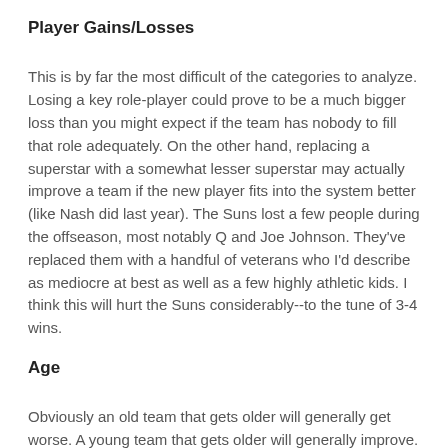Player Gains/Losses
This is by far the most difficult of the categories to analyze. Losing a key role-player could prove to be a much bigger loss than you might expect if the team has nobody to fill that role adequately. On the other hand, replacing a superstar with a somewhat lesser superstar may actually improve a team if the new player fits into the system better (like Nash did last year). The Suns lost a few people during the offseason, most notably Q and Joe Johnson. They've replaced them with a handful of veterans who I'd describe as mediocre at best as well as a few highly athletic kids. I think this will hurt the Suns considerably--to the tune of 3-4 wins.
Age
Obviously an old team that gets older will generally get worse. A young team that gets older will generally improve. The Suns are still quite a young team and this may be their greatest asset. Nash is 31 now, but should still be in the prime of his career (though he may be more injury prone now). Stoudemire is still quite young, but he has some real...